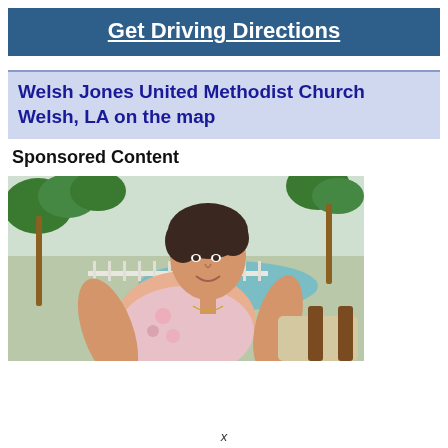Get Driving Directions
Welsh Jones United Methodist Church Welsh, LA on the map
Sponsored Content
[Figure (photo): Woman with short dark hair sitting outdoors near a pool with palm trees in the background, wearing a floral top and gold necklace.]